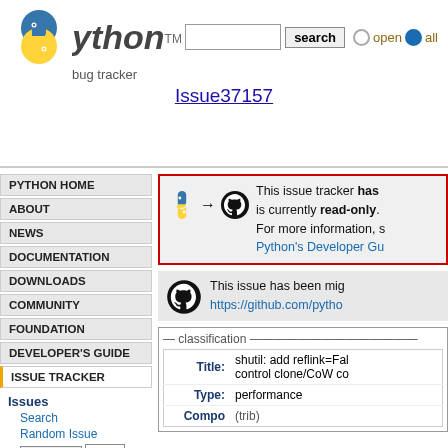python™ bug tracker — Issue37157 | search | open | all
PYTHON HOME
ABOUT
NEWS
DOCUMENTATION
DOWNLOADS
COMMUNITY
FOUNDATION
DEVELOPER'S GUIDE
ISSUE TRACKER
Issues
Search
Random Issue
Summaries
Issues with patch
This issue tracker has been migrated and is currently read-only. For more information, see Python's Developer Guide.
This issue has been migrated to https://github.com/pytho...
classification
| Field | Value |
| --- | --- |
| Title: | shutil: add reflink=False to control clone/CoW copy |
| Type: | performance |